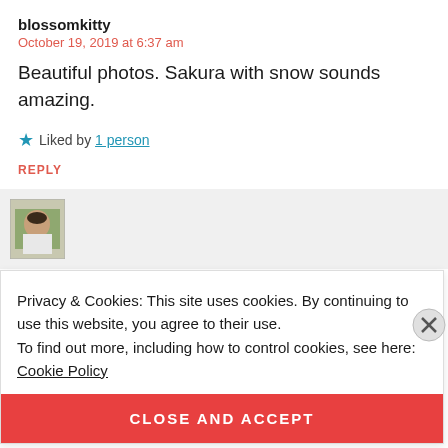blossomkitty
October 19, 2019 at 6:37 am
Beautiful photos. Sakura with snow sounds amazing.
★ Liked by 1 person
REPLY
[Figure (photo): Avatar photo of a person outdoors]
Privacy & Cookies: This site uses cookies. By continuing to use this website, you agree to their use.
To find out more, including how to control cookies, see here: Cookie Policy
CLOSE AND ACCEPT